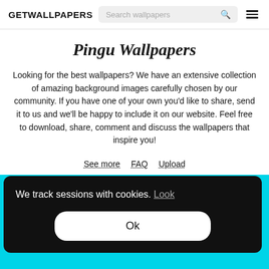GETWALLPAPERS
Pingu Wallpapers
Looking for the best wallpapers? We have an extensive collection of amazing background images carefully chosen by our community. If you have one of your own you’d like to share, send it to us and we’ll be happy to include it on our website. Feel free to download, share, comment and discuss the wallpapers that inspire you!
See more   FAQ   Upload
We track sessions with cookies. Look
Ok